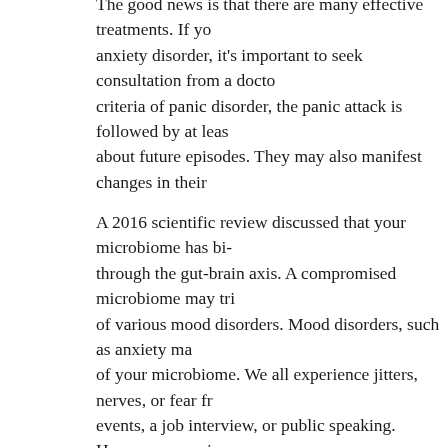The good news is that there are many effective treatments. If you have anxiety disorder, it's important to seek consultation from a doctor. To meet criteria of panic disorder, the panic attack is followed by at least one month of worry about future episodes. They may also manifest changes in their
A 2016 scientific review discussed that your microbiome has bi- through the gut-brain axis. A compromised microbiome may tri- of various mood disorders. Mood disorders, such as anxiety may of your microbiome. We all experience jitters, nerves, or fear fro- events, a job interview, or public speaking. However, experienc- anxiety, fear, or worry can interfere with the quality of your life treatment for Generalized Anxiety Disorder, it's important to en- of another disorder or ailment.
You like to stay up late and indulge in a few of your guilty pleas- hours of work, binging your favorite shows, scrolling through th- way, lack of sleep is one of the biggest anxiety triggers I know. health and if you can, you should try getting 8 hours of sleep ea- that you're having a hard time falling asleep, it could be a symp-